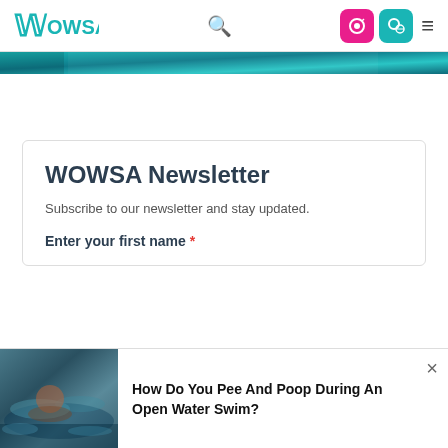WOWSA
[Figure (photo): Teal/blue water banner image strip at top of page]
WOWSA Newsletter
Subscribe to our newsletter and stay updated.
Enter your first name *
[Figure (photo): Person swimming in open water]
How Do You Pee And Poop During An Open Water Swim?